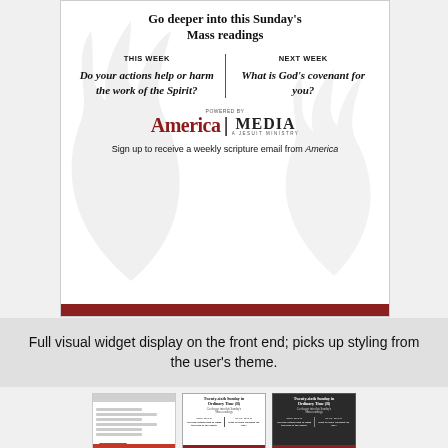[Figure (infographic): Widget showing Sunday Mass readings prompt. Title: 'Go deeper into this Sunday's Mass readings'. Two columns: THIS WEEK - 'Do your actions help or harm the work of the Spirit?' and NEXT WEEK - 'What is God's covenant for you?'. Powered by America Media, a Jesuit Ministry. Sign up to receive a weekly scripture email from America. Dark red footer bar.]
Full visual widget display on the front end; picks up styling from the user's theme.
[Figure (screenshot): Three thumbnail screenshots showing: an admin settings form, and two versions of the Mass readings widget with different themes.]